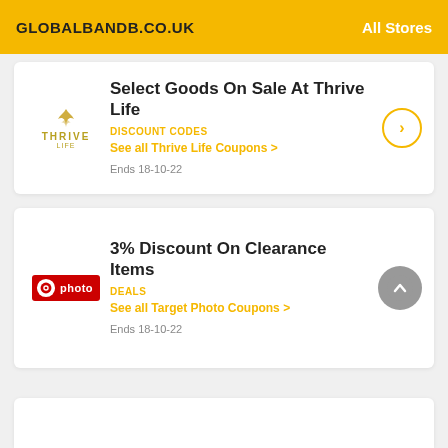GLOBALBANDB.CO.UK    All Stores
Select Goods On Sale At Thrive Life
DISCOUNT CODES
See all Thrive Life Coupons >
Ends 18-10-22
3% Discount On Clearance Items
DEALS
See all Target Photo Coupons >
Ends 18-10-22